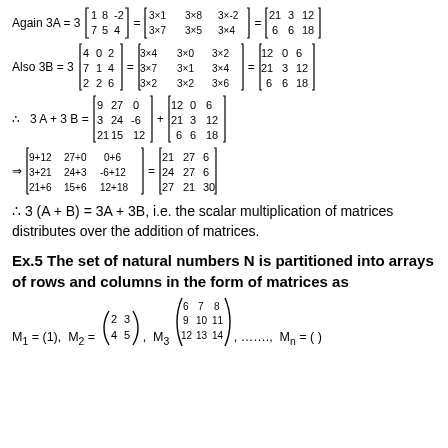∴ 3 (A + B) = 3A + 3B, i.e. the scalar multiplication of matrices distributes over the addition of matrices.
Ex.5 The set of natural numbers N is partitioned into arrays of rows and columns in the form of matrices as